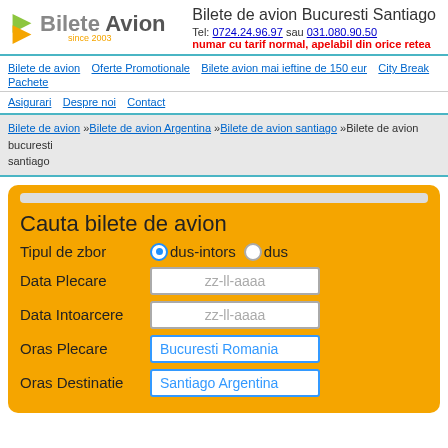Bilete de avion Bucuresti Santiago
Tel: 0724.24.96.97 sau 031.080.90.50
numar cu tarif normal, apelabil din orice retea
Bilete de avion | Oferte Promotionale | Bilete avion mai ieftine de 150 eur | City Break | Pachete
Asigurari | Despre noi | Contact
Bilete de avion »Bilete de avion Argentina »Bilete de avion santiago »Bilete de avion bucuresti santiago
Cauta bilete de avion
Tipul de zbor  dus-intors  dus
Data Plecare   zz-ll-aaaa
Data Intoarcere   zz-ll-aaaa
Oras Plecare   Bucuresti Romania
Oras Destinatie   Santiago Argentina